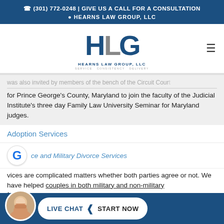📞 (301) 772-0248 | GIVE US A CALL FOR A CONSULTATION
📍 HEARNS LAW GROUP, LLC
[Figure (logo): Hearns Law Group LLC logo with HLG letters and tagline SERVICE CONSISTENCY DELIVERY]
was also invited by members of the bench of the Circuit Court for Prince George's County, Maryland to join the faculty of the Judicial Institute's three day Family Law University Seminar for Maryland judges.
Adoption Services
ce and Military Divorce Services
vices are complicated matters whether both parties agree or not. We have helped couples in both military and non-military famili... ar...